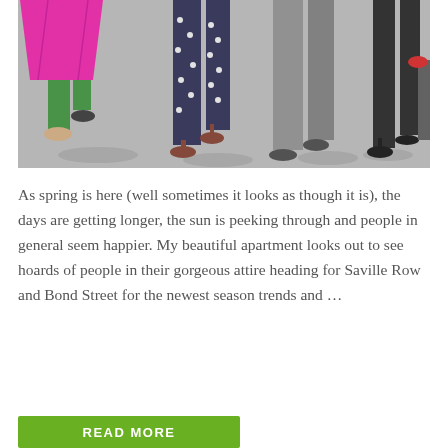[Figure (photo): Street-level photo showing legs and feet of multiple people walking on a sunny pavement. One person carries a bright pink shopping bag. People are dressed in colourful spring attire including green trousers, polka-dot trousers, and heels.]
As spring is here (well sometimes it looks as though it is), the days are getting longer, the sun is peeking through and people in general seem happier. My beautiful apartment looks out to see hoards of people in their gorgeous attire heading for Saville Row and Bond Street for the newest season trends and …
READ MORE